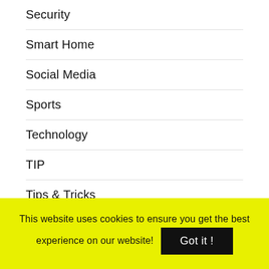Security
Smart Home
Social Media
Sports
Technology
TIP
Tips & Tricks
Travel
Trending
TV Shows
This website uses cookies to ensure you get the best experience on our website!